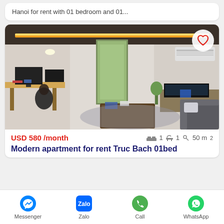Hanoi for rent with 01 bedroom and 01...
[Figure (photo): Interior photo of a modern apartment showing a living/workspace area with wooden desk, monitor, TV console, sofa, coffee table, LED ceiling accent lighting, and doorway to entrance]
USD 580 /month
1 bed  1 bath  50 m²
Modern apartment for rent Truc Bach 01bed
Messenger  Zalo  Call  WhatsApp